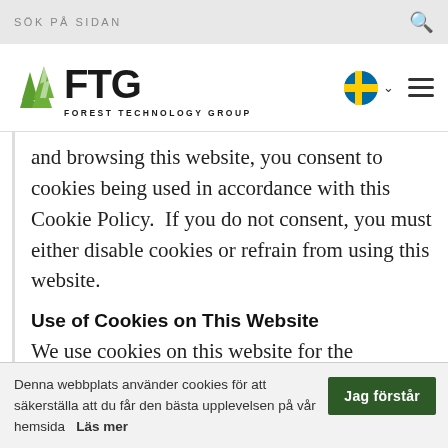SÖK PÅ SIDAN
[Figure (logo): Forest Technology Group (FTG) logo with green tree icons and text 'FOREST TECHNOLOGY GROUP']
and browsing this website, you consent to cookies being used in accordance with this Cookie Policy. If you do not consent, you must either disable cookies or refrain from using this website.
Use of Cookies on This Website
We use cookies on this website for the
Denna webbplats använder cookies för att säkerställa att du får den bästa upplevelsen på vår hemsida   Läs mer